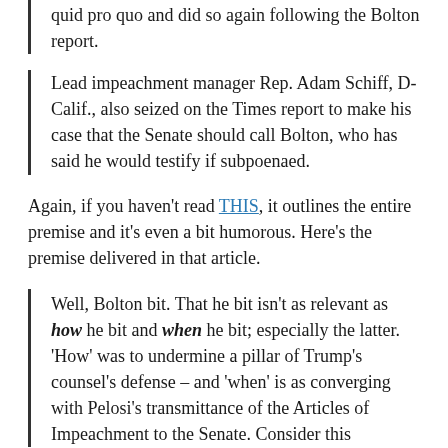quid pro quo and did so again following the Bolton report.
Lead impeachment manager Rep. Adam Schiff, D-Calif., also seized on the Times report to make his case that the Senate should call Bolton, who has said he would testify if subpoenaed.
Again, if you haven't read THIS, it outlines the entire premise and it's even a bit humorous. Here's the premise delivered in that article.
Well, Bolton bit. That he bit isn't as relevant as how he bit and when he bit; especially the latter. 'How' was to undermine a pillar of Trump's counsel's defense – and 'when' is as converging with Pelosi's transmittance of the Articles of Impeachment to the Senate. Consider this